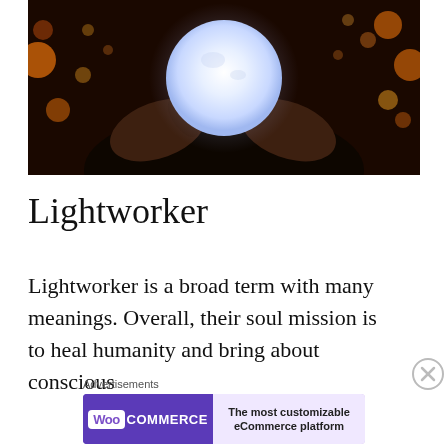[Figure (photo): Person holding a glowing white orb/ball between both hands against a dark background with bokeh lights]
Lightworker
Lightworker is a broad term with many meanings. Overall, their soul mission is to heal humanity and bring about conscious
[Figure (other): WooCommerce advertisement banner: 'The most customizable eCommerce platform']